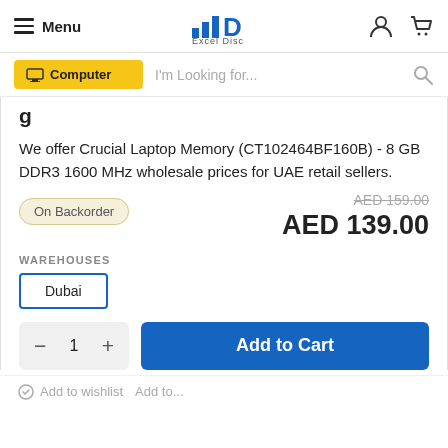Menu | Excel Disc
I'm Looking for...
We offer Crucial Laptop Memory (CT102464BF160B) - 8 GB DDR3 1600 MHz wholesale prices for UAE retail sellers.
On Backorder
AED 159.00
AED 139.00
WAREHOUSES
Dubai
1
Add to Cart